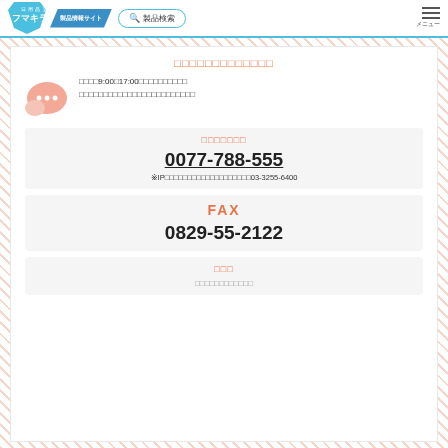日用品質 フマキラー 製品情報サイト 製品検索 メニュー
お問い合わせフォーム
平日9:00〜17:00（土・日・祝日・弊社休業日を除く）
なお、お問い合わせ内容によってはご回答までお時間をいただく場合がございます。
お電話でのお問い合わせ
0077-788-555
※IP電話・光電話等の方、または通話料がかかる場合は03-3255-6400
FAX
0829-55-2122
メール
お問い合わせフォームへ進む